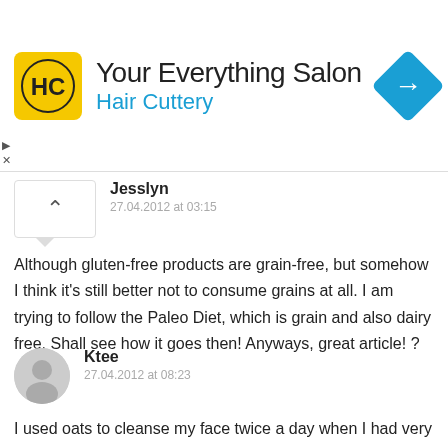[Figure (logo): Hair Cuttery advertisement banner with yellow HC logo, text 'Your Everything Salon' and 'Hair Cuttery', and a blue navigation diamond icon]
Jesslyn
27.04.2012 at 03:15
Although gluten-free products are grain-free, but somehow I think it's still better not to consume grains at all. I am trying to follow the Paleo Diet, which is grain and also dairy free. Shall see how it goes then! Anyways, great article! ?
Ktee
27.04.2012 at 08:23
I used oats to cleanse my face twice a day when I had very bad hormonal breakout a month ago. It calmed down the redness and my skin wasn't as oily as usual. My skin felt very